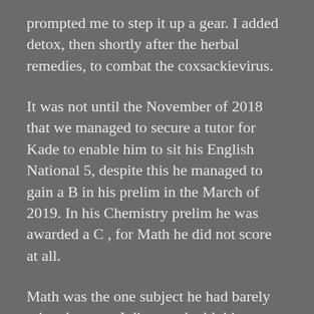prompted me to step it up a gear. I added detox, then shortly after the herbal remedies, to combat the coxsackievirus.
It was not until the November of 2018 that we managed to secure a tutor for Kade to enable him to sit his English National 5, despite this he managed to gain a B in his prelim in the March of 2019. In his Chemistry prelim he was awarded a C , for Math he did not score at all.
Math was the one subject he had barely missed out on. I discussed with his tutor how Kade had left the prelim insisting he had never been taught almost half of the techniques. Looking back I realised, that despite picking up his math tutoring first when he became well enough to